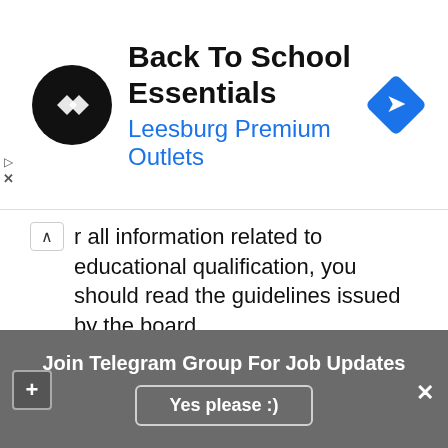[Figure (screenshot): Advertisement banner for 'Back To School Essentials' at Leesburg Premium Outlets with circular logo and blue diamond icon]
r all information related to educational qualification, you should read the guidelines issued by the board
Application Fee
Gen/OBC – 500/-
SC/ST – 250/-
You may Also like This
Join Telegram Group For Job Updates
Yes please :)